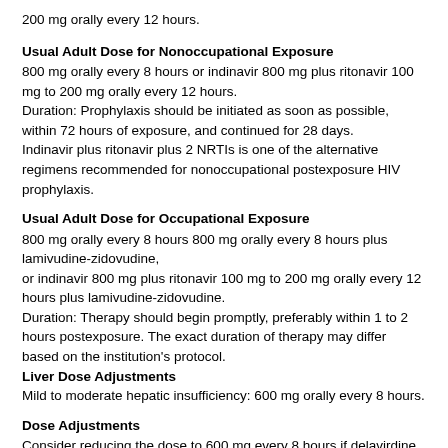200 mg orally every 12 hours.
Usual Adult Dose for Nonoccupational Exposure
800 mg orally every 8 hours or indinavir 800 mg plus ritonavir 100 mg to 200 mg orally every 12 hours.
Duration: Prophylaxis should be initiated as soon as possible, within 72 hours of exposure, and continued for 28 days.
Indinavir plus ritonavir plus 2 NRTIs is one of the alternative regimens recommended for nonoccupational postexposure HIV prophylaxis.
Usual Adult Dose for Occupational Exposure
800 mg orally every 8 hours 800 mg orally every 8 hours plus lamivudine-zidovudine,
or indinavir 800 mg plus ritonavir 100 mg to 200 mg orally every 12 hours plus lamivudine-zidovudine.
Duration: Therapy should begin promptly, preferably within 1 to 2 hours postexposure. The exact duration of therapy may differ based on the institution's protocol.
Liver Dose Adjustments
Mild to moderate hepatic insufficiency: 600 mg orally every 8 hours.
Dose Adjustments
Consider reducing the dose to 600 mg every 8 hours if delavirdine, itraconazole, or ketoconazole are administered concomitantly. Increase the dose to 1000 mg every 8 hours if rifabutin is given concurrently, and decrease the rifabutin dose by half.
Precautions
Strict adherence to the prescribed dose is essential. Patients should not alter the dose or discontinue therapy without consulting their physician.